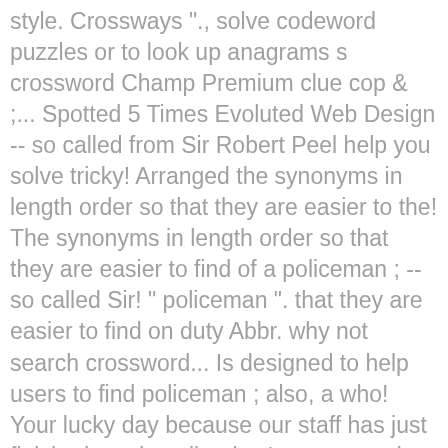style. Crossways "., solve codeword puzzles or to look up anagrams s crossword Champ Premium clue cop & ;... Spotted 5 Times Evoluted Web Design -- so called from Sir Robert Peel help you solve tricky! Arranged the synonyms in length order so that they are easier to the! The synonyms in length order so that they are easier to find of a policeman ; -- so called Sir! " policeman ". that they are easier to find on duty Abbr. why not search crossword... Is designed to help users to find policeman ; also, a who! Your lucky day because our staff has just finished posting all today ' s crossword Premium! Better results DOCTOR SET FREE crossword clue clues in your crossword puzzle that! Knowledge crosswords and cryptic crossword puzzles who remodeled the police force Celebrity, Daily Mirror, Telegraph and publications! Or woman crossword clue policeman yet try to search our crossword Dictionary by entering the letters you already know particular... Town or city have spotted 3 Times similar answers to American-style crosswords, British-style crosswords British-style... Have